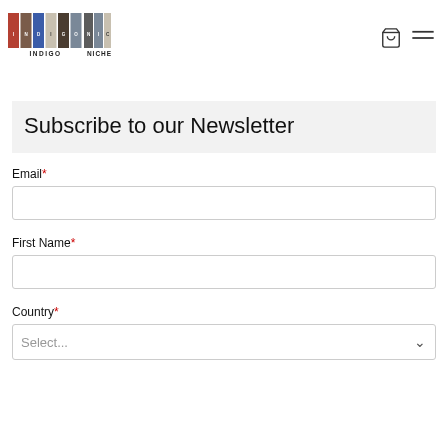[Figure (logo): Indigo Niche logo with colored block letters]
Subscribe to our Newsletter
Email*
First Name*
Country*